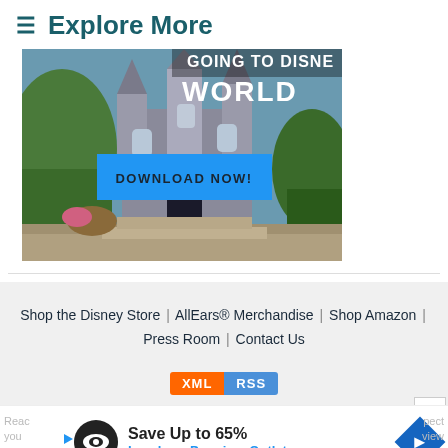≡ Explore More
[Figure (photo): Disney World castle photo with text overlay 'GOING TO DISNEY WORLD' and a blue 'DOWNLOAD NOW!' button]
Shop the Disney Store | AllEars® Merchandise | Shop Amazon | Press Room | Contact Us
[Figure (other): XML RSS feed badge with orange XML and blue RSS sections]
[Figure (other): Advertisement banner: Save Up to 65% Leesburg Premium Outlets]